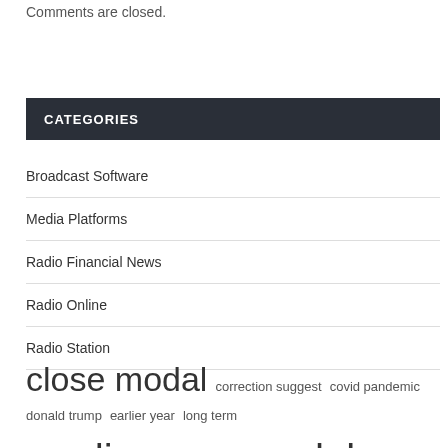Comments are closed.
CATEGORIES
Broadcast Software
Media Platforms
Radio Financial News
Radio Online
Radio Station
close modal  correction suggest  covid pandemic  donald trump  earlier year  long term  media platforms  modal suggest